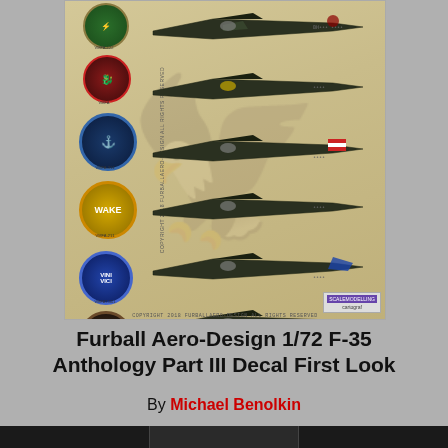[Figure (photo): Decal sheet showing multiple F-35 aircraft in profile view against a tan/beige background, with squadron patches/roundels on the left side (VMFA-122, VMFA-311, VMFA-211, VMFAT-501, and others). Copyright 2018 Furball Aero-Design. All Rights Reserved text visible at bottom of decal sheet.]
Furball Aero-Design 1/72 F-35 Anthology Part III Decal First Look
By Michael Benolkin